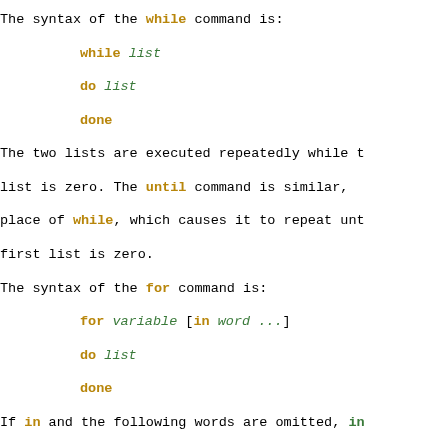The syntax of the while command is:
    while list
    do list
    done
The two lists are executed repeatedly while the exit status of the first list is zero. The until command is similar, but uses until in place of while, which causes it to repeat until the exit status of the first list is zero.
The syntax of the for command is:
    for variable [in word ...]
    do list
    done
If in and the following words are omitted, in "$@" is assumed so positional words are expanded, and then the list is executed once for each word, with variable set to each word in turn. The do and done commands may be replaced with `{' and `}'.
The syntax of the break and continue commands is:
    break [num]
    continue [num]
The break command terminates the num innermost for or while loops. The continue command continues with the next iteration of the innermost loop. These are implemented as special built-in commands.